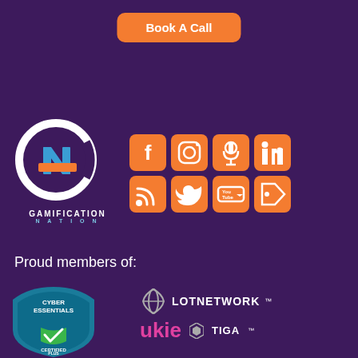[Figure (other): Orange Book A Call button]
[Figure (logo): Gamification Nation logo with circular G icon and social media icons (Facebook, Instagram, Podcast, LinkedIn, RSS, Twitter, YouTube, Tag)]
Proud members of:
[Figure (logo): Cyber Essentials Certified Plus badge]
[Figure (logo): LOTNetwork logo]
[Figure (logo): ukie logo and TIGA logo]